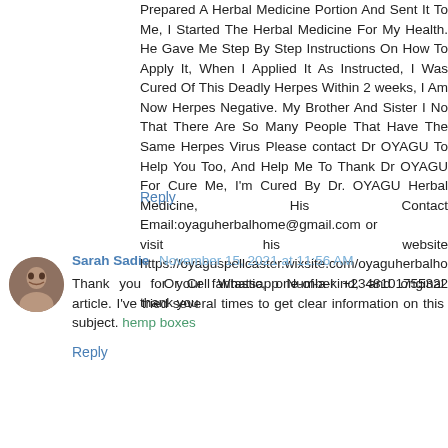Prepared A Herbal Medicine Portion And Sent It To Me, I Started The Herbal Medicine For My Health. He Gave Me Step By Step Instructions On How To Apply It, When I Applied It As Instructed, I Was Cured Of This Deadly Herpes Within 2 weeks, I Am Now Herpes Negative. My Brother And Sister I No That There Are So Many People That Have The Same Herpes Virus Please contact Dr OYAGU To Help You Too, And Help Me To Thank Dr OYAGU For Cure Me, I'm Cured By Dr. OYAGU Herbal Medicine, His Contact Email:oyaguherbalhome@gmail.com or visit his website https://oyaguspellcaster.wixsite.com/oyaguherbalhome Or Cell Whatsapp Number +2348101755322 thank you
Reply
Sarah Sadie  November 15, 2021 at 11:56 AM
Thank you for your fantastic, one-of-a-kind, and original article. I've tried several times to get clear information on this subject. hemp boxes
Reply